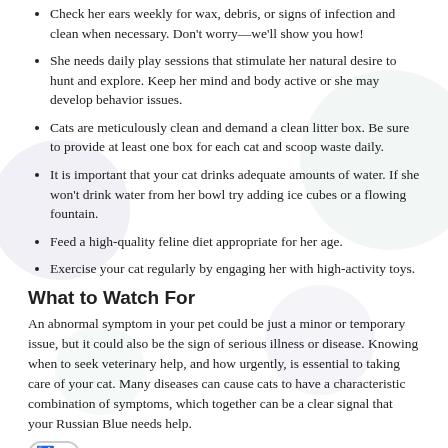Check her ears weekly for wax, debris, or signs of infection and clean when necessary. Don't worry—we'll show you how!
She needs daily play sessions that stimulate her natural desire to hunt and explore. Keep her mind and body active or she may develop behavior issues.
Cats are meticulously clean and demand a clean litter box. Be sure to provide at least one box for each cat and scoop waste daily.
It is important that your cat drinks adequate amounts of water. If she won't drink water from her bowl try adding ice cubes or a flowing fountain.
Feed a high-quality feline diet appropriate for her age.
Exercise your cat regularly by engaging her with high-activity toys.
What to Watch For
An abnormal symptom in your pet could be just a minor or temporary issue, but it could also be the sign of serious illness or disease. Knowing when to seek veterinary help, and how urgently, is essential to taking care of your cat. Many diseases can cause cats to have a characteristic combination of symptoms, which together can be a clear signal that your Russian Blue needs help.
Or... Calls
Give us a call for an appointment if you notice any of these types of symptoms: